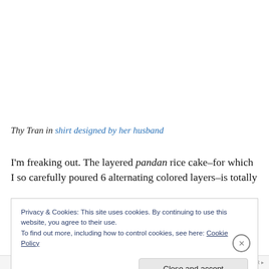Thy Tran in shirt designed by her husband
I'm freaking out. The layered pandan rice cake–for which I so carefully poured 6 alternating colored layers–is totally
Privacy & Cookies: This site uses cookies. By continuing to use this website, you agree to their use.
To find out more, including how to control cookies, see here: Cookie Policy
[Close and accept]